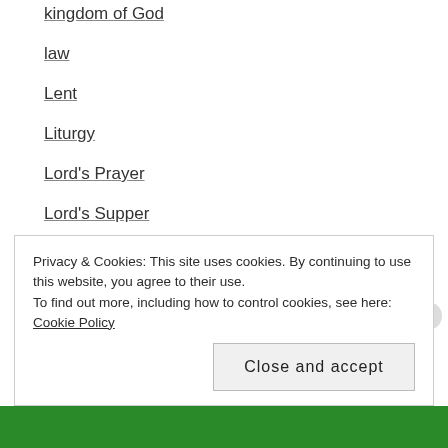kingdom of God
law
Lent
Liturgy
Lord's Prayer
Lord's Supper
love
Macarius the Great
Malcolm X
manasticism
Privacy & Cookies: This site uses cookies. By continuing to use this website, you agree to their use. To find out more, including how to control cookies, see here: Cookie Policy
Close and accept